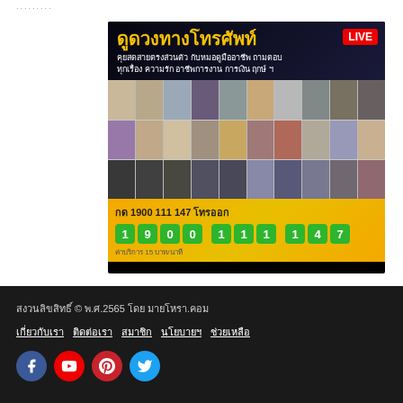[Figure (advertisement): Thai horoscope phone service advertisement banner. Dark background with Thai text 'ดูดวงทางโทรศัพท์' in yellow, LIVE badge in red, Thai subtitle text, grid of fortune teller portraits, and phone number 1900 111 147 with green digit buttons on yellow background.]
สงวนลิขสิทธิ์ © พ.ศ.2565 โดย มายโหรา.คอม
เกี่ยวกับเรา  ติดต่อเรา  สมาชิก  นโยบายฯ  ช่วยเหลือ